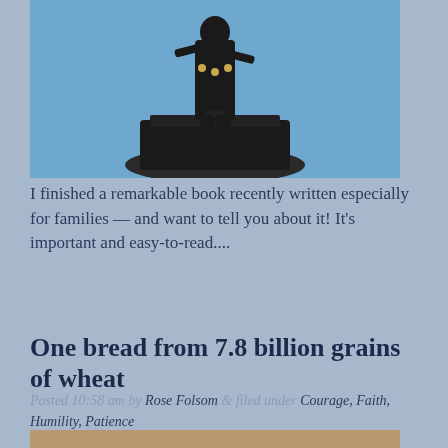[Figure (photo): A dark bronze or iron statue of a person on a pedestal, photographed against a blue sky background.]
I finished a remarkable book recently written especially for families — and want to tell you about it! It's important and easy-to-read....
One bread from 7.8 billion grains of wheat
Posted 10:58 am by Rose Folsom & filed under Courage, Faith, Humility, Patience
[Figure (photo): Bottom portion of an image showing a warm glowing circular light on a tan/beige background, partially cropped.]